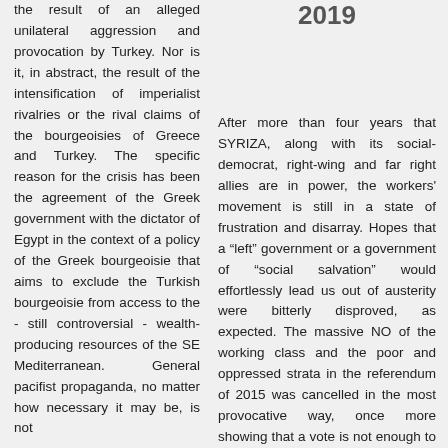the result of an alleged unilateral aggression and provocation by Turkey. Nor is it, in abstract, the result of the intensification of imperialist rivalries or the rival claims of the bourgeoisies of Greece and Turkey. The specific reason for the crisis has been the agreement of the Greek government with the dictator of Egypt in the context of a policy of the Greek bourgeoisie that aims to exclude the Turkish bourgeoisie from access to the - still controversial - wealth-producing resources of the SE Mediterranean. General pacifist propaganda, no matter how necessary it may be, is not
2019
After more than four years that SYRIZA, along with its social-democrat, right-wing and far right allies are in power, the workers' movement is still in a state of frustration and disarray. Hopes that a “left” government or a government of “social salvation” would effortlessly lead us out of austerity were bitterly disproved, as expected. The massive NO of the working class and the poor and oppressed strata in the referendum of 2015 was cancelled in the most provocative way, once more showing that a vote is not enough to save us. On the other hand, through years of struggles